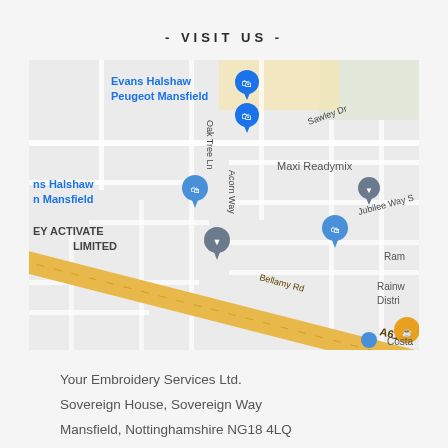- VISIT US -
[Figure (map): Google Maps screenshot showing the area around Sovereign Way, Mansfield, Nottinghamshire. Shows roads including A6191, Oak Tree Ln, Acorn Way, Bellamy Rd, Jubilee Way S, Sawley Dr. Landmarks include Evans Halshaw Peugeot Mansfield, Maxi Readymix, EY ACTIVATE LIMITED, Rainworth District. A diagonal yellow road (A6191) runs across the map.]
Your Embroidery Services Ltd.
Sovereign House, Sovereign Way
Mansfield, Nottinghamshire NG18 4LQ
United Kingdom